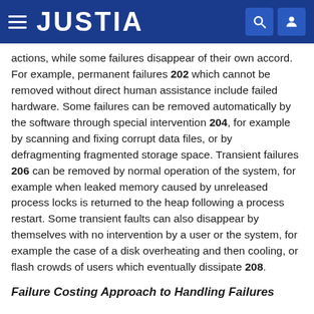JUSTIA
actions, while some failures disappear of their own accord. For example, permanent failures 202 which cannot be removed without direct human assistance include failed hardware. Some failures can be removed automatically by the software through special intervention 204, for example by scanning and fixing corrupt data files, or by defragmenting fragmented storage space. Transient failures 206 can be removed by normal operation of the system, for example when leaked memory caused by unreleased process locks is returned to the heap following a process restart. Some transient faults can also disappear by themselves with no intervention by a user or the system, for example the case of a disk overheating and then cooling, or flash crowds of users which eventually dissipate 208.
Failure Costing Approach to Handling Failures